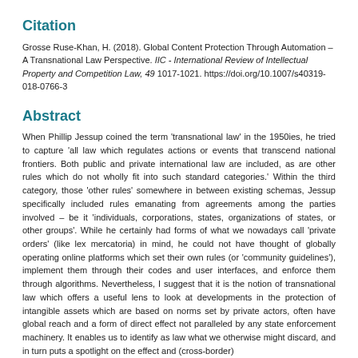Citation
Grosse Ruse-Khan, H. (2018). Global Content Protection Through Automation – A Transnational Law Perspective. IIC - International Review of Intellectual Property and Competition Law, 49 1017-1021. https://doi.org/10.1007/s40319-018-0766-3
Abstract
When Phillip Jessup coined the term ‘transnational law’ in the 1950ies, he tried to capture ‘all law which regulates actions or events that transcend national frontiers. Both public and private international law are included, as are other rules which do not wholly fit into such standard categories.’ Within the third category, those ‘other rules’ somewhere in between existing schemas, Jessup specifically included rules emanating from agreements among the parties involved – be it ‘individuals, corporations, states, organizations of states, or other groups’. While he certainly had forms of what we nowadays call ‘private orders’ (like lex mercatoria) in mind, he could not have thought of globally operating online platforms which set their own rules (or ‘community guidelines’), implement them through their codes and user interfaces, and enforce them through algorithms. Nevertheless, I suggest that it is the notion of transnational law which offers a useful lens to look at developments in the protection of intangible assets which are based on norms set by private actors, often have global reach and a form of direct effect not paralleled by any state enforcement machinery. It enables us to identify as law what we otherwise might discard, and in turn puts a spotlight on the effect and (cross-border)